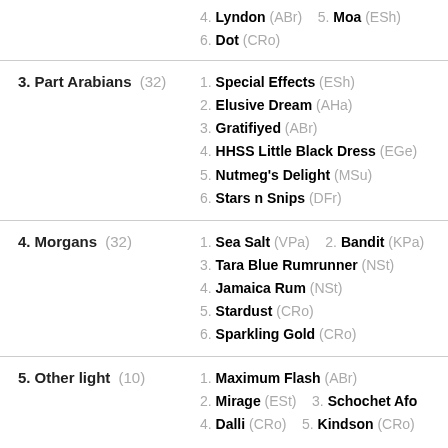4. Lyndon (ABr)  5. Moa (ESh)
6. Dot (CRo)
3. Part Arabians (32) — 1. Special Effects (ESh) 2. Elusive Dream (AHa) 3. Gratifiyed (ABr) 4. HHSS Little Black Dress (EGe) 5. Nutmeg's Delight (MSu) 6. Stars n Snips (DFr)
4. Morgans (32) — 1. Sea Salt (VPa) 2. Bandit (KPa) 3. Tara Blue Rumrunner (NSt) 4. Jamaica Rum (NSt) 5. Stardust (CRo) 6. Sparkling Gold (CRo)
5. Other light (10) — 1. Maximum Flash (ABr) 2. Mirage (ESt) 3. Schochet Afo 4. Dalli (CRo) 5. Kindson (CRo)